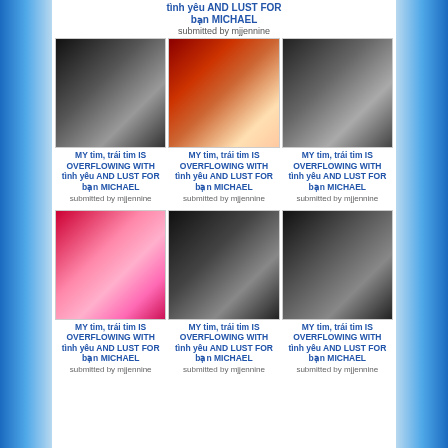tình yêu AND LUST FOR bạn MICHAEL
submitted by mjjennine
[Figure (photo): Black and white photo of Michael Jackson]
MY tim, trái tim IS OVERFLOWING WITH tình yêu AND LUST FOR bạn MICHAEL
submitted by mjjennine
[Figure (photo): Color photo of Michael Jackson with a child]
MY tim, trái tim IS OVERFLOWING WITH tình yêu AND LUST FOR bạn MICHAEL
submitted by mjjennine
[Figure (photo): Black and white photo of Michael Jackson]
MY tim, trái tim IS OVERFLOWING WITH tình yêu AND LUST FOR bạn MICHAEL
submitted by mjjennine
[Figure (photo): Color photo of Michael Jackson with a child in pink outfit]
MY tim, trái tim IS OVERFLOWING WITH tình yêu AND LUST FOR bạn MICHAEL
submitted by mjjennine
[Figure (photo): Black and white photo of Michael Jackson]
MY tim, trái tim IS OVERFLOWING WITH tình yêu AND LUST FOR bạn MICHAEL
submitted by mjjennine
[Figure (photo): Black and white photo of Michael Jackson]
MY tim, trái tim IS OVERFLOWING WITH tình yêu AND LUST FOR bạn MICHAEL
submitted by mjjennine